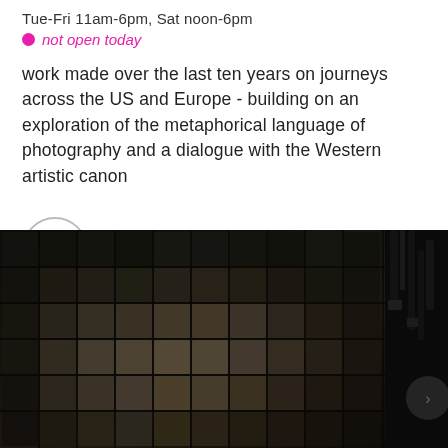Tue-Fri 11am-6pm, Sat noon-6pm
not open today
work made over the last ten years on journeys across the US and Europe - building on an exploration of the metaphorical language of photography and a dialogue with the Western artistic canon
South London Gallery Fire Station
London, Public
[Figure (photo): Dark photograph of a tiled wall with gritty, worn texture in muted grey-brown tones. On the right side, dark straps or cables hang vertically. The overall image is very dark with some lighter patches on the tiles.]